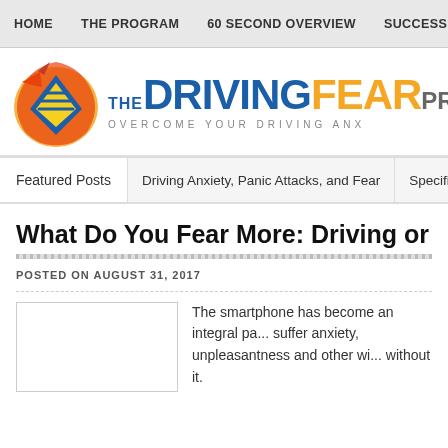HOME | THE PROGRAM | 60 SECOND OVERVIEW | SUCCESS STO...
[Figure (logo): The Driving Fear Program logo with icon and text 'THE DRIVINGFEAR PROG... OVERCOME YOUR DRIVING ANX...']
Featured Posts | Driving Anxiety, Panic Attacks, and Fear | Specific D...
What Do You Fear More: Driving or Being w...
POSTED ON AUGUST 31, 2017
The smartphone has become an integral pa... suffer anxiety, unpleasantness and other wi... without it.